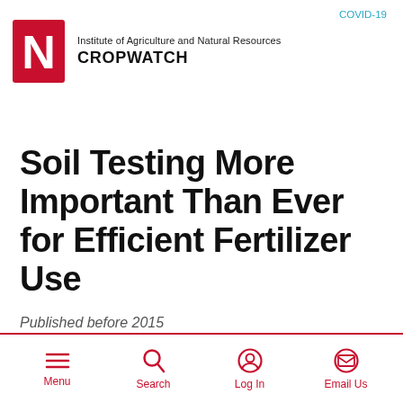Institute of Agriculture and Natural Resources CROPWATCH
COVID-19
Soil Testing More Important Than Ever for Efficient Fertilizer Use
Published before 2015
Menu | Search | Log In | Email Us